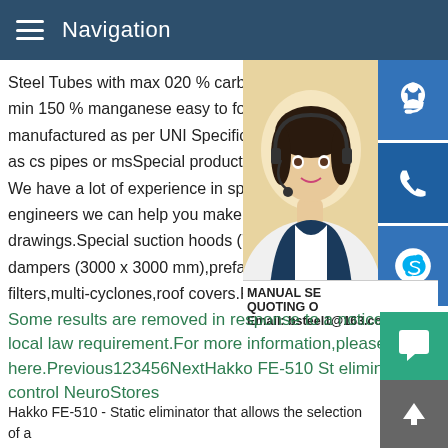Navigation
Steel Tubes with max 020 % carbon conte min 150 % manganese easy to form and s manufactured as per UNI Specification an as cs pipes or msSpecial products - Formi We have a lot of experience in special pro engineers we can help you make proposa drawings.Special suction hoods (7000 x 4 dampers (3000 x 3000 mm),prefab piping, filters,multi-cyclones,roof covers.Request
[Figure (photo): Photo of a woman wearing a headset, customer service representative, with blue contact icon buttons on the right side: chat/headset icon, phone icon, Skype icon]
MANUAL SE QUOTING O Email: bsteel1@163.com
Some results are removed in response to a notice of local law requirement.For more information,please see here.Previous123456NextHakko FE-510 St eliminator control NeuroStores
Hakko FE-510 - Static eliminator that allows the selection of a